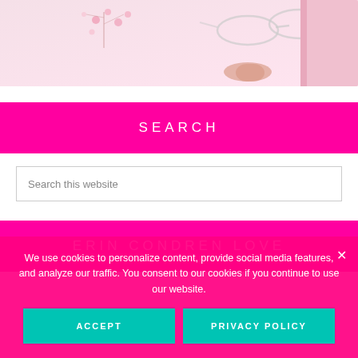[Figure (photo): Stock photo showing pink notebooks, glasses, and cherry blossom flowers on a white surface — lifestyle/stationery flat lay]
SEARCH
Search this website
ERIN CONDREN LOVE
We use cookies to personalize content, provide social media features, and analyze our traffic. You consent to our cookies if you continue to use our website.
ACCEPT
PRIVACY POLICY